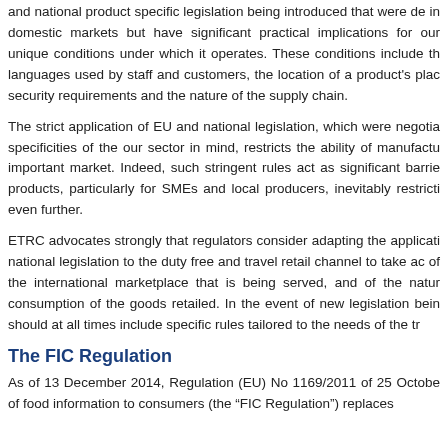and national product specific legislation being introduced that were de in domestic markets but have significant practical implications for our unique conditions under which it operates. These conditions include th languages used by staff and customers, the location of a product's plac security requirements and the nature of the supply chain.
The strict application of EU and national legislation, which were negotia specificities of the our sector in mind, restricts the ability of manufactu important market. Indeed, such stringent rules act as significant barrie products, particularly for SMEs and local producers, inevitably restricti even further.
ETRC advocates strongly that regulators consider adapting the applicati national legislation to the duty free and travel retail channel to take ac of the international marketplace that is being served, and of the natur consumption of the goods retailed. In the event of new legislation bein should at all times include specific rules tailored to the needs of the tr
The FIC Regulation
As of 13 December 2014, Regulation (EU) No 1169/2011 of 25 Octobe of food information to consumers (the "FIC Regulation") replaces